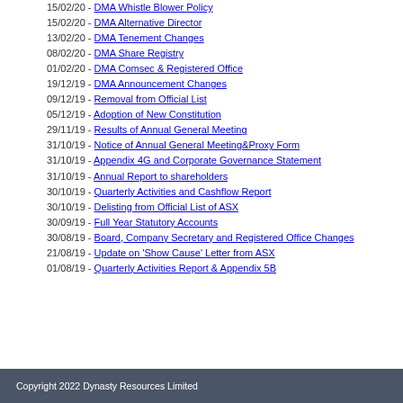15/02/20 - DMA Whistle Blower Policy
15/02/20 - DMA Alternative Director
13/02/20 - DMA Tenement Changes
08/02/20 - DMA Share Registry
01/02/20 - DMA Comsec & Registered Office
19/12/19 - DMA Announcement Changes
09/12/19 - Removal from Official List
05/12/19 - Adoption of New Constitution
29/11/19 - Results of Annual General Meeting
31/10/19 - Notice of Annual General Meeting&Proxy Form
31/10/19 - Appendix 4G and Corporate Governance Statement
31/10/19 - Annual Report to shareholders
30/10/19 - Quarterly Activities and Cashflow Report
30/10/19 - Delisting from Official List of ASX
30/09/19 - Full Year Statutory Accounts
30/08/19 - Board, Company Secretary and Registered Office Changes
21/08/19 - Update on 'Show Cause' Letter from ASX
01/08/19 - Quarterly Activities Report & Appendix 5B
Copyright 2022 Dynasty Resources Limited